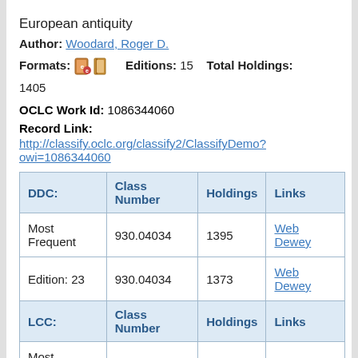European antiquity
Author: Woodard, Roger D.
Formats: [icons] Editions: 15 Total Holdings: 1405
OCLC Work Id: 1086344060
Record Link:
http://classify.oclc.org/classify2/ClassifyDemo?owi=1086344060
| DDC: | Class Number | Holdings | Links |
| --- | --- | --- | --- |
| Most Frequent | 930.04034 | 1395 | Web Dewey |
| Edition: 23 | 930.04034 | 1373 | Web Dewey |
| LCC: | Class Number | Holdings | Links |
| Most Frequent | P525 | 1401 | ClassWeb |
DDC  LCC  All
DDC